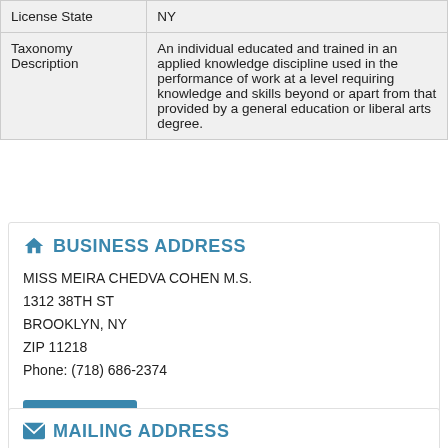|  |  |
| --- | --- |
| License State | NY |
| Taxonomy Description | An individual educated and trained in an applied knowledge discipline used in the performance of work at a level requiring knowledge and skills beyond or apart from that provided by a general education or liberal arts degree. |
BUSINESS ADDRESS
MISS MEIRA CHEDVA COHEN M.S.
1312 38TH ST
BROOKLYN, NY
ZIP 11218
Phone: (718) 686-2374
Get Directions
MAILING ADDRESS